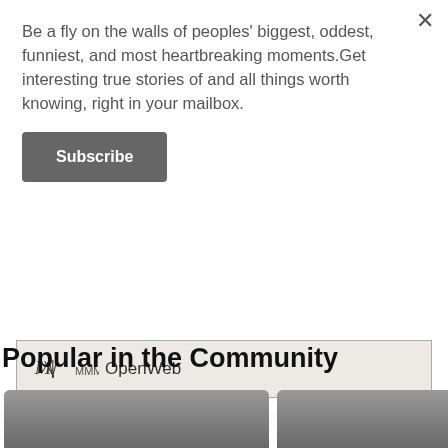Be a fly on the walls of peoples' biggest, oddest, funniest, and most heartbreaking moments.Get interesting true stories of and all things worth knowing, right in your mailbox.
Subscribe
[Figure (logo): OpenWeb logo with decorative circular icon]
AdChoices  Sponsored
Popular in the Community
[Figure (photo): Dark gradient card image with text: People Share Their Favorite Curse Word Alternatives]
[Figure (photo): Dark gradient card image with text: People Break Down Car Accessories Ma]